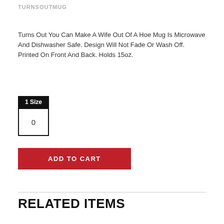TURNSOUTMUG
Turns Out You Can Make A Wife Out Of A Hoe Mug Is Microwave And Dishwasher Safe. Design Will Not Fade Or Wash Off. Printed On Front And Back. Holds 15oz.
1 Size
0
ADD TO CART
RELATED ITEMS